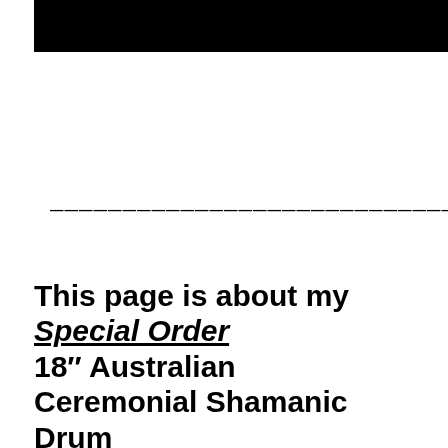[Figure (other): Black rectangular bar at top of page]
——————————————————————————————————————
This page is about my Special Order 18″ Australian Ceremonial Shamanic Drum (which is approximately 45cm in diameter)